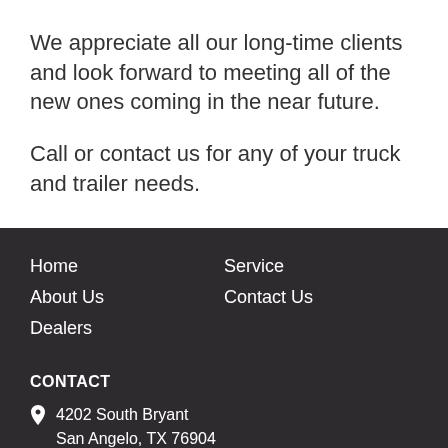We appreciate all our long-time clients and look forward to meeting all of the new ones coming in the near future.
Call or contact us for any of your truck and trailer needs.
Home
About Us
Dealers
Service
Contact Us
CONTACT
4202 South Bryant
San Angelo, TX 76904